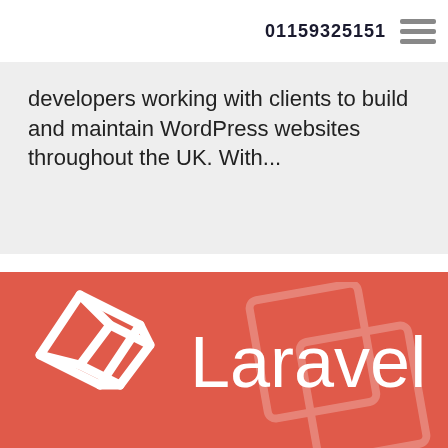01159325151
developers working with clients to build and maintain WordPress websites throughout the UK. With...
[Figure (logo): Laravel logo on a red/coral background with the Laravel brand name and logo mark (L-shaped diamond symbol), partially cropped on the right]